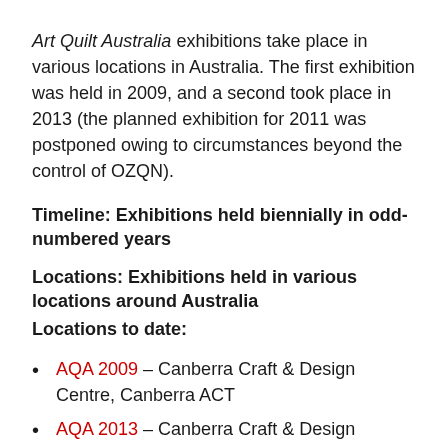Art Quilt Australia exhibitions take place in various locations in Australia. The first exhibition was held in 2009, and a second took place in 2013 (the planned exhibition for 2011 was postponed owing to circumstances beyond the control of OZQN).
Timeline: Exhibitions held biennially in odd-numbered years
Locations: Exhibitions held in various locations around Australia
Locations to date:
AQA 2009 – Canberra Craft & Design Centre, Canberra ACT
AQA 2013 – Canberra Craft & Design Centre, Canberra ACT